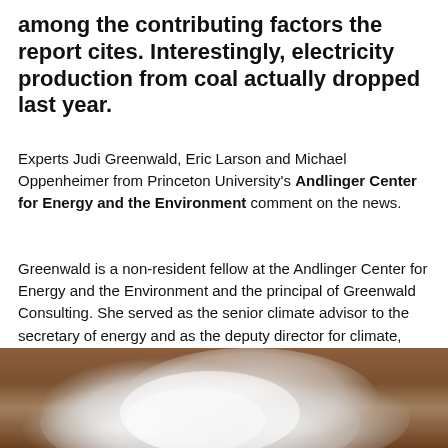among the contributing factors the report cites. Interestingly, electricity production from coal actually dropped last year.
Experts Judi Greenwald, Eric Larson and Michael Oppenheimer from Princeton University's Andlinger Center for Energy and the Environment comment on the news.
Greenwald is a non-resident fellow at the Andlinger Center for Energy and the Environment and the principal of Greenwald Consulting. She served as the senior climate advisor to the secretary of energy and as the deputy director for climate, environment and energy efficiency at the Department of Energy under the Obama administration.
[Figure (photo): Photograph showing industrial smoke or steam clouds against a brownish-orange sky background, likely from a power plant or industrial facility.]